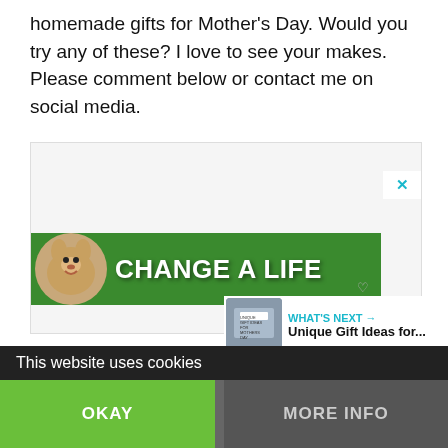homemade gifts for Mother's Day. Would you try any of these? I love to see your makes. Please comment below or contact me on social media.
[Figure (illustration): Advertisement banner with green background, dog photo, and text 'CHANGE A LIFE']
WHAT'S NEXT → Unique Gift Ideas for...
This website uses cookies
OKAY
MORE INFO